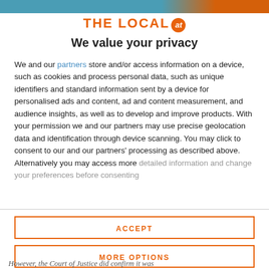[Figure (logo): The Local AT logo with orange text and circular badge]
We value your privacy
We and our partners store and/or access information on a device, such as cookies and process personal data, such as unique identifiers and standard information sent by a device for personalised ads and content, ad and content measurement, and audience insights, as well as to develop and improve products. With your permission we and our partners may use precise geolocation data and identification through device scanning. You may click to consent to our and our partners' processing as described above. Alternatively you may access more detailed information and change your preferences before consenting
ACCEPT
MORE OPTIONS
However, the Court of Justice did confirm it was